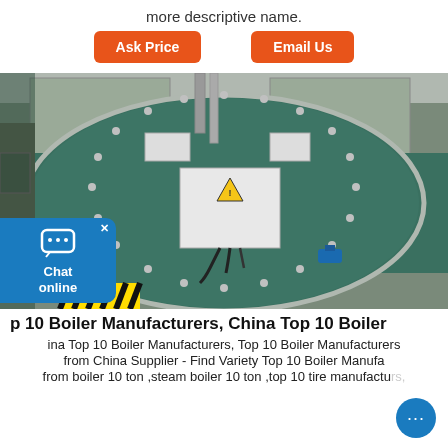more descriptive name.
Ask Price
Email Us
[Figure (photo): Industrial boiler equipment in a factory/warehouse setting. A large cylindrical teal/green-colored boiler with a circular front face, featuring a central white control box with electrical cables and a warning triangle sticker, flanged piping, yellow-black safety striped base, and industrial equipment surrounding it.]
p 10 Boiler Manufacturers, China Top 10 Boiler
ina Top 10 Boiler Manufacturers, Top 10 Boiler Manufacturers from China Supplier - Find Variety Top 10 Boiler Manufa from boiler 10 ton ,steam boiler 10 ton ,top 10 tire manufacturers,